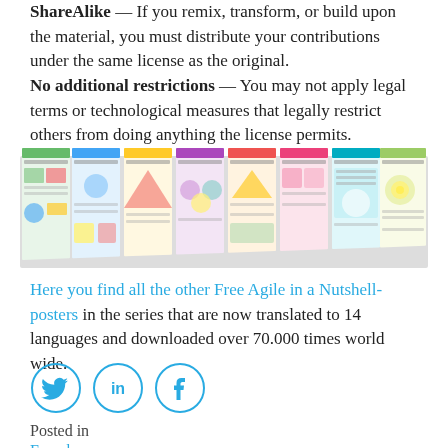ShareAlike — If you remix, transform, or build upon the material, you must distribute your contributions under the same license as the original.
No additional restrictions — You may not apply legal terms or technological measures that legally restrict others from doing anything the license permits.
[Figure (photo): A row of Agile in a Nutshell poster booklets/pamphlets fanned out, showing colorful infographic covers with titles like 'Agile Product', 'Agile in a Nutshell', 'Agile User Experience', 'Agile Leadership', 'Customer Agility', 'Agile HR in a Nutshell']
Here you find all the other Free Agile in a Nutshell-posters in the series that are now translated to 14 languages and downloaded over 70.000 times world wide.
[Figure (infographic): Three social media sharing icons in circles: Twitter (bird icon), LinkedIn (in), Facebook (f)]
Posted in
French